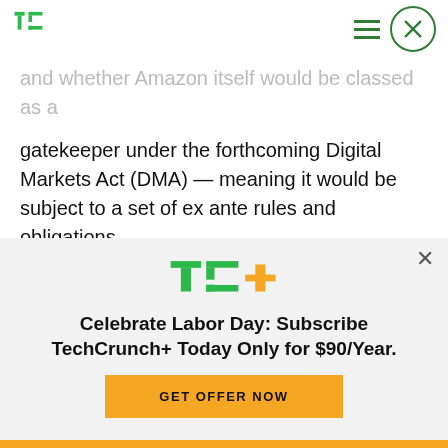[Figure (logo): TechCrunch green TC logo in header]
and whether Amazon itself would be classed as a gatekeeper under the forthcoming Digital Markets Act (DMA) — meaning it would be subject to a set of ex ante rules and obligations.
Vestager declined to offer much detail on the forthcoming legislation — nor confirm whether Amazon would meet the criteria — as she said the
[Figure (logo): TechCrunch+ logo (TC+ in green and yellow)]
Celebrate Labor Day: Subscribe TechCrunch+ Today Only for $90/Year.
GET OFFER NOW